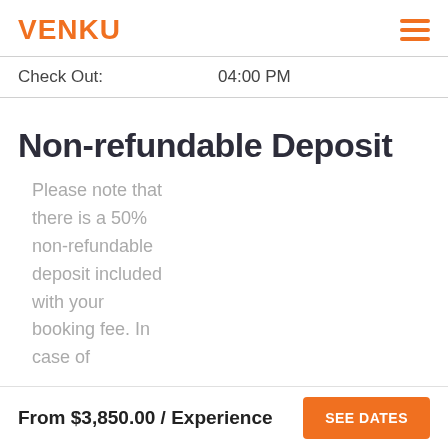VENKU
Check Out: 04:00 PM
Non-refundable Deposit
Please note that there is a 50% non-refundable deposit included with your booking fee. In case of
From $3,850.00 / Experience  SEE DATES